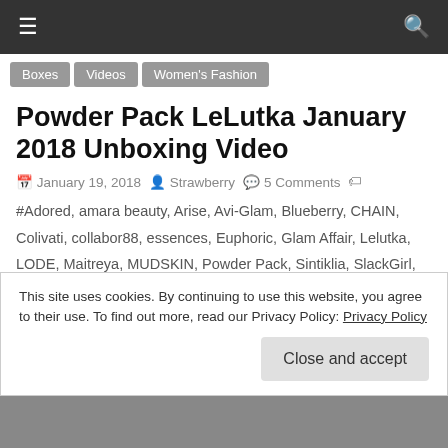≡  🔍
Boxes
Videos
Women's Fashion
Powder Pack LeLutka January 2018 Unboxing Video
January 19, 2018   Strawberry   5 Comments
#Adored, amara beauty, Arise, Avi-Glam, Blueberry, CHAIN, Colivati, collabor88, essences, Euphoric, Glam Affair, Lelutka, LODE, Maitreya, MUDSKIN, Powder Pack, Sintiklia, SlackGirl, StrawberrySingh.com, Studio Exposure, The Face, Truth, Zibska
Today I unboxed the January 2018 edition of Powder Pack LeLutka. Powder Pack LeLutka is a Second life subscription box which consists
This site uses cookies. By continuing to use this website, you agree to their use. To find out more, read our Privacy Policy: Privacy Policy
Close and accept